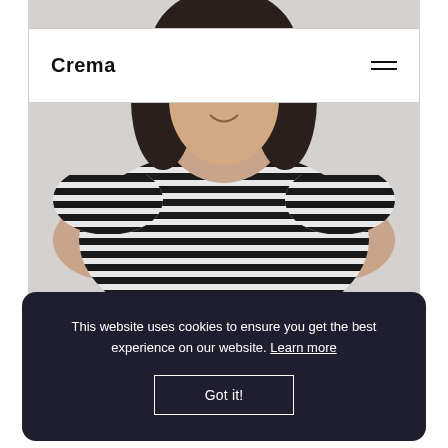[Figure (photo): Portrait photo of a woman with dark hair wearing a black and white horizontal striped short-sleeve shirt, photographed against a light grey background. Only upper body and face visible.]
Crema
Courtney Johnston von Nieda
This website uses cookies to ensure you get the best experience on our website. Learn more
Got it!